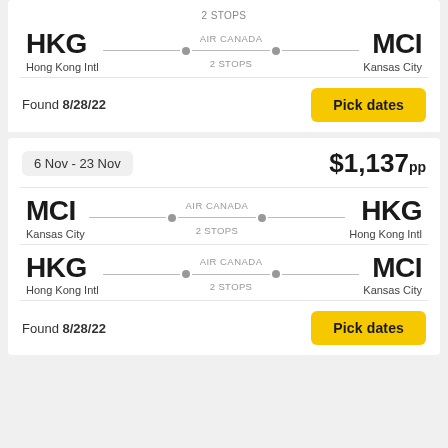2 STOPS
HKG Hong Kong Intl — AIR CANADA — 2 STOPS — MCI Kansas City
Found 8/28/22
Pick dates
6 Nov - 23 Nov
$1,137pp
MCI Kansas City — AIR CANADA — 2 STOPS — HKG Hong Kong Intl
HKG Hong Kong Intl — AIR CANADA — 2 STOPS — MCI Kansas City
Found 8/28/22
Pick dates